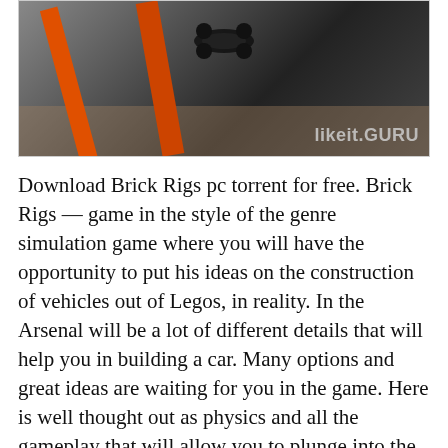[Figure (photo): Top-down view of a racing track with orange stripes and a dark vehicle, with 'likeit.GURU' watermark in the bottom right corner.]
Download Brick Rigs pc torrent for free. Brick Rigs — game in the style of the genre simulation game where you will have the opportunity to put his ideas on the construction of vehicles out of Legos, in reality. In the Arsenal will be a lot of different details that will help you in building a car. Many options and great ideas are waiting for you in the game. Here is well thought out as physics and all the gameplay that will allow you to plunge into the huge world full of possibilities. In addition, you will be able to oldeset on their structures on the world, and then to